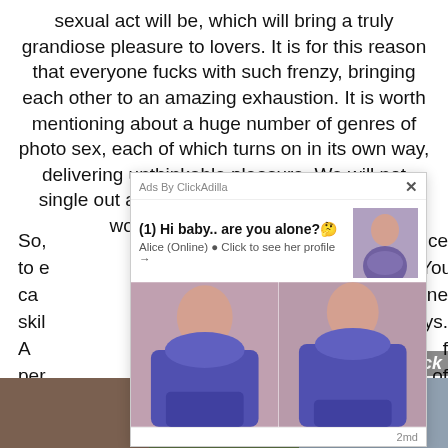sexual act will be, which will bring a truly grandiose pleasure to lovers. It is for this reason that everyone fucks with such frenzy, bringing each other to an amazing exhaustion. It is worth mentioning about a huge number of genres of photo sex, each of which turns on in its own way, delivering unthinkable pleasure. We will not single out any kind of sex, but just say a few words about some of them. So, [obscured by ad] ice to e[obscured] You ca[obscured] ne skil[obscured] ys. A[obscured] f per[obscured] s of
[Figure (other): Advertisement overlay from ClickAdilla showing a woman in blue bikini, with headline '(1) Hi baby.. are you alone?' and subtext 'Alice (Online) ● Click to see her profile →'. Contains thumbnail image and two larger promotional images. Timestamp '2md' shown at bottom right of ad.]
[Figure (photo): Bottom strip of partially visible thumbnail images at the bottom of the page.]